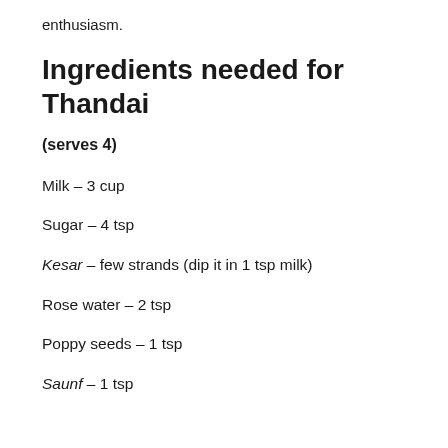enthusiasm.
Ingredients needed for Thandai
(serves 4)
Milk – 3 cup
Sugar – 4 tsp
Kesar – few strands (dip it in 1 tsp milk)
Rose water – 2 tsp
Poppy seeds – 1 tsp
Saunf – 1 tsp